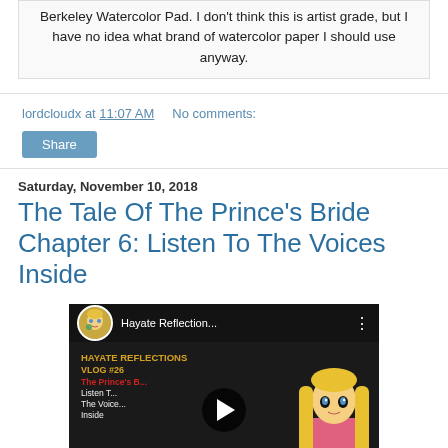Berkeley Watercolor Pad. I don't think this is artist grade, but I have no idea what brand of watercolor paper I should use anyway.
lordcloudx at 11:07 AM   No comments:
Share
Saturday, November 10, 2018
The Tale Of The Prince's Bride Chapter 6: Listen To The Voices Inside
[Figure (screenshot): YouTube video thumbnail showing Hayate Reflections VLOG #26 about The Prince's Bride Chapter 6: Listen To The Voices Inside, with an anime girl character on the right and a play button in the center.]